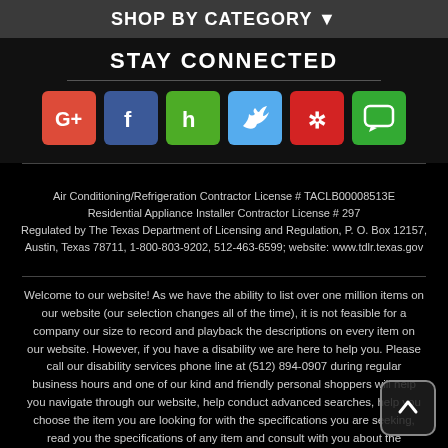SHOP BY CATEGORY ▾
STAY CONNECTED
[Figure (other): Social media icons row: Google+, Facebook, Houzz, Twitter, Yelp, Chat/Nextdoor]
Air Conditioning/Refrigeration Contractor License # TACLB00008513E
Residential Appliance Installer Contractor License # 297
Regulated by The Texas Department of Licensing and Regulation, P. O. Box 12157, Austin, Texas 78711, 1-800-803-9202, 512-463-6599; website: www.tdlr.texas.gov
Welcome to our website! As we have the ability to list over one million items on our website (our selection changes all of the time), it is not feasible for a company our size to record and playback the descriptions on every item on our website. However, if you have a disability we are here to help you. Please call our disability services phone line at (512) 894-0907 during regular business hours and one of our kind and friendly personal shoppers will help you navigate through our website, help conduct advanced searches, help you choose the item you are looking for with the specifications you are seeking, read you the specifications of any item and consult with you about the products themselves. There is no charge for the help of this personal shopper for anyone with a